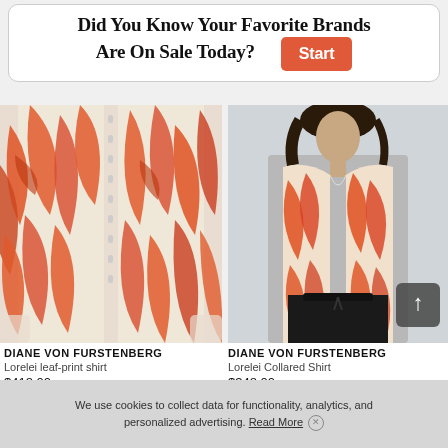Did You Know Your Favorite Brands Are On Sale Today? Start
[Figure (photo): Close-up of an orange and mint leaf-print long-sleeve shirt, laid flat, showing the button front and pattern detail.]
[Figure (photo): Woman wearing an orange and mint leaf-print collared shirt with black trousers, styled with a tie-waist detail.]
DIANE VON FURSTENBERG
Lorelei leaf-print shirt
$418.00
DIANE VON FURSTENBERG
Lorelei Collared Shirt
$348.00
We use cookies to collect data for functionality, analytics, and personalized advertising. Read More ×